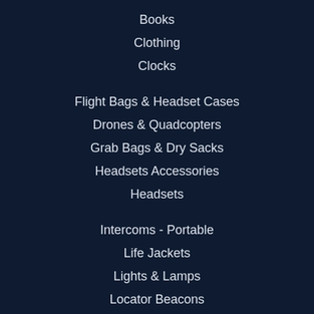Books
Clothing
Clocks
Flight Bags & Headset Cases
Drones & Quadcopters
Grab Bags & Dry Sacks
Headsets Accessories
Headsets
Intercoms - Portable
Life Jackets
Lights & Lamps
Locator Beacons
Pilot Supplies
Radio / Transceivers